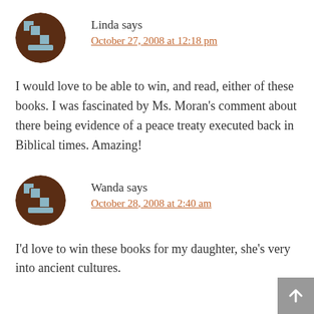Linda says
October 27, 2008 at 12:18 pm
I would love to be able to win, and read, either of these books. I was fascinated by Ms. Moran’s comment about there being evidence of a peace treaty executed back in Biblical times. Amazing!
Wanda says
October 28, 2008 at 2:40 am
I’d love to win these books for my daughter, she’s very into ancient cultures.